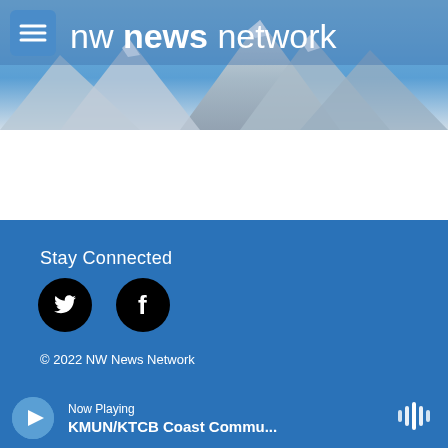[Figure (screenshot): NW News Network website header with mountain background, hamburger menu icon, and site logo text 'nw news network']
Stay Connected
[Figure (illustration): Twitter bird icon in black circle]
[Figure (illustration): Facebook f icon in black circle]
© 2022 NW News Network
[Figure (logo): Spokane Public Radio logo in black bar]
[Figure (logo): JPR logo in black bar]
[Figure (logo): KLCC logo in black bar]
Now Playing
KMUN/KTCB Coast Commu...